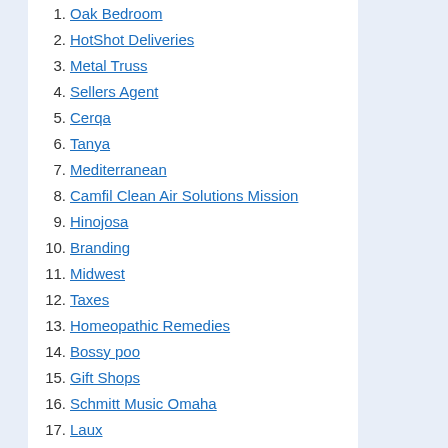1. Oak Bedroom
2. HotShot Deliveries
3. Metal Truss
4. Sellers Agent
5. Cerqa
6. Tanya
7. Mediterranean
8. Camfil Clean Air Solutions Mission
9. Hinojosa
10. Branding
11. Midwest
12. Taxes
13. Homeopathic Remedies
14. Bossy poo
15. Gift Shops
16. Schmitt Music Omaha
17. Laux
18. Military Novelties
19. Pop up Shops
20. Made in Omaha